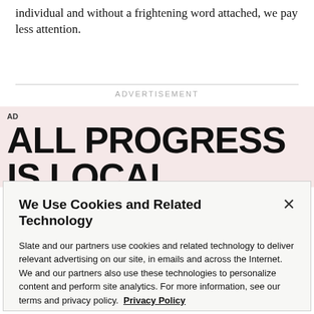individual and without a frightening word attached, we pay less attention.
ADVERTISEMENT
[Figure (other): Advertisement banner with pink background. Small 'AD' tag in top left. Large bold black uppercase text reading 'ALL PROGRESS IS LOCAL'.]
We Use Cookies and Related Technology
Slate and our partners use cookies and related technology to deliver relevant advertising on our site, in emails and across the Internet. We and our partners also use these technologies to personalize content and perform site analytics. For more information, see our terms and privacy policy.  Privacy Policy
OK